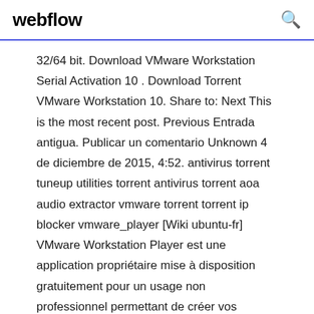webflow
32/64 bit. Download VMware Workstation Serial Activation 10 . Download Torrent VMware Workstation 10. Share to: Next This is the most recent post. Previous Entrada antigua. Publicar un comentario Unknown 4 de diciembre de 2015, 4:52. antivirus torrent tuneup utilities torrent antivirus torrent aoa audio extractor vmware torrent torrent ip blocker vmware_player [Wiki ubuntu-fr] VMware Workstation Player est une application propriétaire mise à disposition gratuitement pour un usage non professionnel permettant de créer vos propres machines virtuelles, afin d'y installer vos propres systèmes d'exploitation